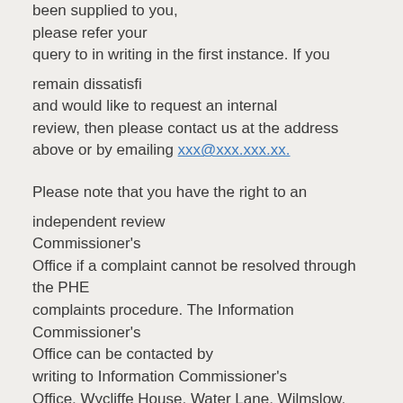been supplied to you, please refer your query to in writing in the first instance. If you remain dissatisfied and would like to request an internal review, then please contact us at the address above or by emailing xxx@xxx.xxx.xx.
Please note that you have the right to an independent review by the Information Commissioner's Office if a complaint cannot be resolved through the PHE complaints procedure. The Information Commissioner's Office can be contacted by writing to Information Commissioner's Office, Wycliffe House, Water Lane, Wilmslow, Cheshire, SK9 5AF.
Yours sincerely,
FOI Team
2